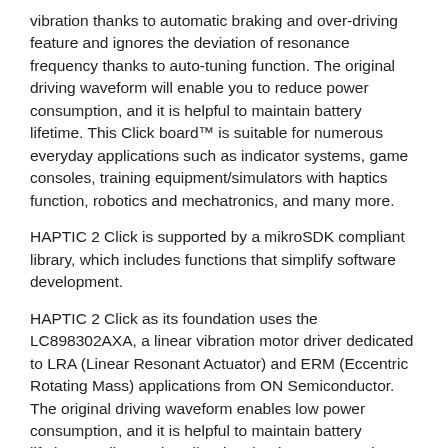vibration thanks to automatic braking and over-driving feature and ignores the deviation of resonance frequency thanks to auto-tuning function. The original driving waveform will enable you to reduce power consumption, and it is helpful to maintain battery lifetime. This Click board™ is suitable for numerous everyday applications such as indicator systems, game consoles, training equipment/simulators with haptics function, robotics and mechatronics, and many more.
HAPTIC 2 Click is supported by a mikroSDK compliant library, which includes functions that simplify software development.
HAPTIC 2 Click as its foundation uses the LC898302AXA, a linear vibration motor driver dedicated to LRA (Linear Resonant Actuator) and ERM (Eccentric Rotating Mass) applications from ON Semiconductor. The original driving waveform enables low power consumption, and it is helpful to maintain battery lifetime. It allows crisp vibration thanks to automatic braking and over-driving feature. The drive frequency automatically adjusts to the resonance frequency of the linear vibrator without the use of other external parts.
As a result of this very effective drive, the vibration is as powerful as possible using minimal energy compared to